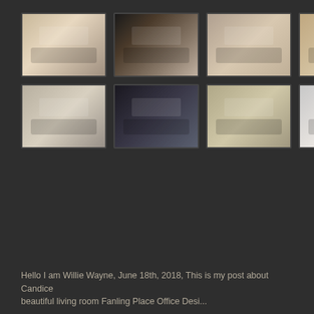[Figure (photo): Grid of interior design room photos arranged in 2 rows of 7 thumbnails each, showing various living rooms, bedrooms, and home interiors on a dark background]
Hello I am Willie Wayne, June 18th, 2018, This is my post about Candice beautiful living room Fanling Place Office Desi...